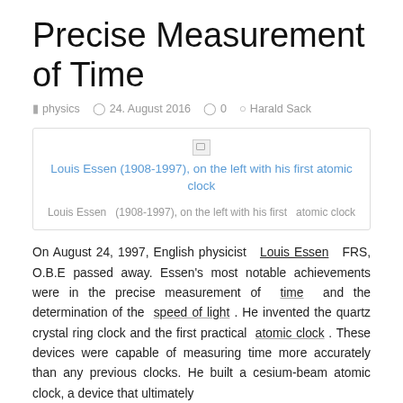Precise Measurement of Time
physics  24. August 2016  0  Harald Sack
[Figure (other): Broken image link with caption: Louis Essen (1908-1997), on the left with his first atomic clock]
Louis Essen  (1908-1997), on the left with his first  atomic clock
On August 24, 1997, English physicist  Louis Essen  FRS, O.B.E passed away. Essen's most notable achievements were in the precise measurement of  time  and the determination of the  speed of light . He invented the quartz crystal ring clock and the first practical  atomic clock . These devices were capable of measuring time more accurately than any previous clocks. He built a cesium-beam atomic clock, a device that ultimately